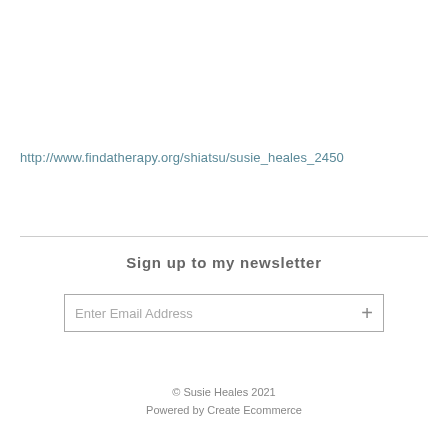http://www.findatherapy.org/shiatsu/susie_heales_2450
Sign up to my newsletter
[Figure (other): Email subscription input field with placeholder 'Enter Email Address' and a plus button]
© Susie Heales 2021
Powered by Create Ecommerce